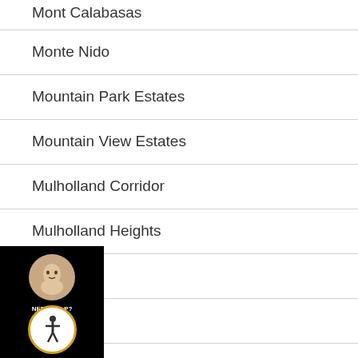Mont Calabasas
Monte Nido
Mountain Park Estates
Mountain View Estates
Mulholland Corridor
Mulholland Heights
Mulwood
Oak Park
Old Agoura
Park Moderne | Bird Street
Topanga